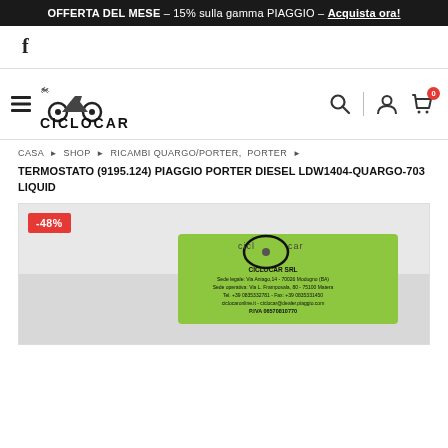OFFERTA DEL MESE – 15% sulla gamma PIAGGIO – Acquista ora!
[Figure (logo): Facebook icon link]
[Figure (logo): Ciclocar logo with motorbike icon, hamburger menu, search, user, and cart icons with badge 0]
CASA > SHOP > RICAMBI QUARGO/PORTER, PORTER >
TERMOSTATO (9195.124) PIAGGIO PORTER DIESEL LDW1404-QUARGO-703 LIQUID
[Figure (photo): Product photo showing a thermostat part with a Ciclocar SRL business card/label on a white fabric background. Label shows: CICLOCAR SRL, Sede legale: Via Aniago,14 - 70026 Modugno (BA), Sede operativa: Via L. Frambosola, 80 - 75100 Matera, Tel. +39 0835332781 - Fax: +39 0835331450, ciclocaronline.it - ciclocar@dealer.piaggio.com, P.IVA 06570810770. A red badge shows -48%.]